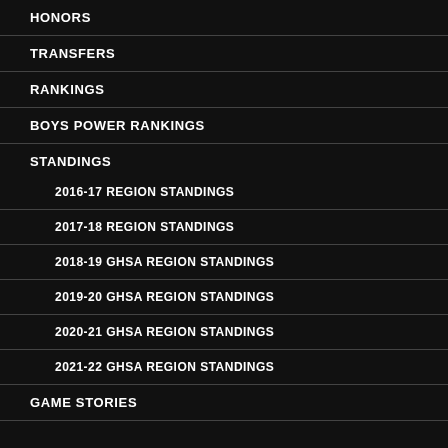HONORS
TRANSFERS
RANKINGS
BOYS POWER RANKINGS
STANDINGS
2016-17 REGION STANDINGS
2017-18 REGION STANDINGS
2018-19 GHSA REGION STANDINGS
2019-20 GHSA REGION STANDINGS
2020-21 GHSA REGION STANDINGS
2021-22 GHSA REGION STANDINGS
GAME STORIES